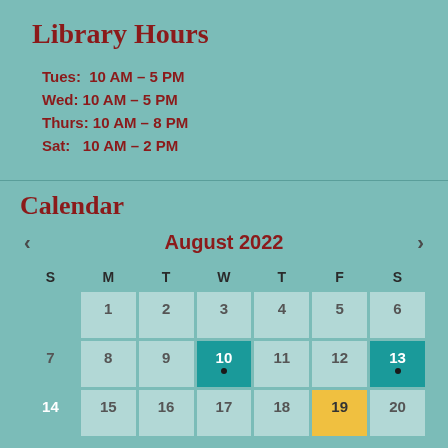Library Hours
Tues:  10 AM – 5 PM
Wed:  10 AM – 5 PM
Thurs:  10 AM – 8 PM
Sat:   10 AM – 2 PM
Calendar
[Figure (other): August 2022 calendar widget showing days 1-20, with days 10 and 13 highlighted in teal, day 14 and 19 highlighted in teal/yellow, dots under days 10 and 13.]